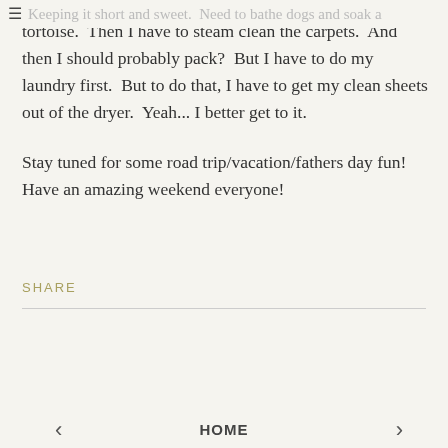Keeping it short and sweet.  Need to bathe dogs and soak a
tortoise.  Then I have to steam clean the carpets.  And then I should probably pack?  But I have to do my laundry first.  But to do that, I have to get my clean sheets out of the dryer.  Yeah... I better get to it.

Stay tuned for some road trip/vacation/fathers day fun!  Have an amazing weekend everyone!
SHARE
< HOME >